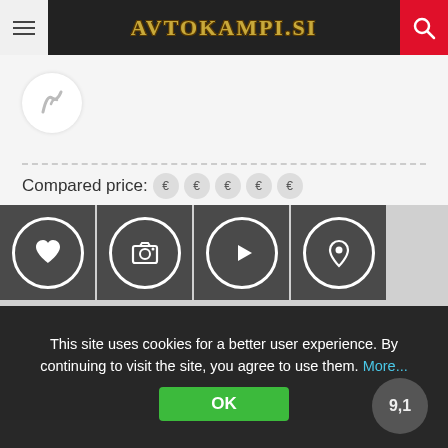AVTOKAMPI.SI
[Figure (screenshot): Logo placeholder circle with stylized route/path icon]
Compared price: € € € € €
[Figure (infographic): Four icon buttons: heart (favorite), camera (photo), play (video), location pin (map)]
This site uses cookies for a better user experience. By continuing to visit the site, you agree to use them. More...
OK
9.1